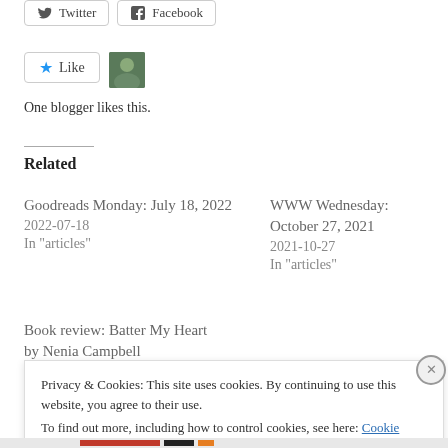[Figure (screenshot): Twitter and Facebook social sharing buttons at top]
[Figure (screenshot): Like button with blue star and blogger avatar photo]
One blogger likes this.
Related
Goodreads Monday: July 18, 2022
2022-07-18
In "articles"
WWW Wednesday: October 27, 2021
2021-10-27
In "articles"
Book review: Batter My Heart by Nenia Campbell
Privacy & Cookies: This site uses cookies. By continuing to use this website, you agree to their use.
To find out more, including how to control cookies, see here: Cookie Policy
Close and accept